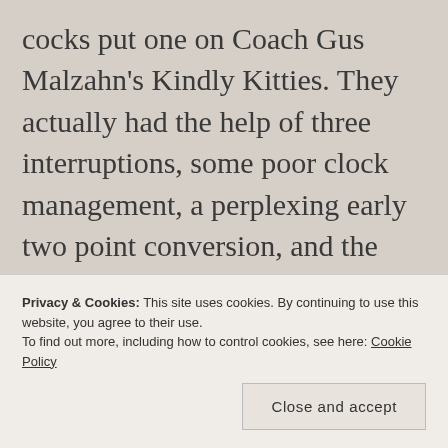cocks put one on Coach Gus Malzahn's Kindly Kitties. They actually had the help of three interruptions, some poor clock management, a perplexing early two point conversion, and the limited use of a first year Tank. Bigsby, that is. But, by golly, the home team took it to 'em and came out with a much need victory. Congratulations to Coach Boom and his Roosters! I don't know if this gang of Kitties from Red Stick are any better. We's about to find out. Feathers and fur should be fl...
Privacy & Cookies: This site uses cookies. By continuing to use this website, you agree to their use.
To find out more, including how to control cookies, see here: Cookie Policy
Close and accept